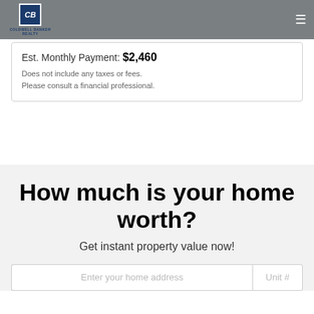[Figure (logo): Coldwell Banker Realty logo with blue square icon and text]
Est. Monthly Payment: $2,460
Does not include any taxes or fees.
Please consult a financial professional.
How much is your home worth?
Get instant property value now!
Enter your home address   Unit #